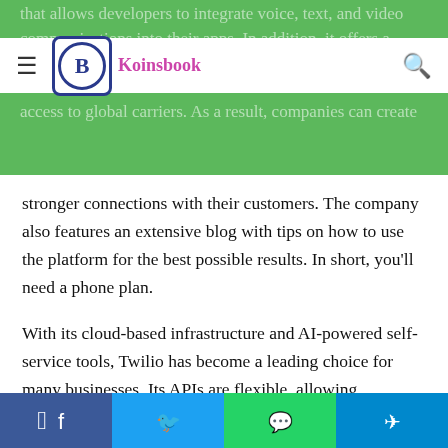that allows developers to integrate voice, text, and video communications into their apps. In addition, it offers a cloud-based call center platform and grants its developers access to global carriers. As a result, companies can create
[Figure (logo): Koinsbook logo: blue rounded square border with circular B emblem, purple-pink 'Koinsbook' text]
stronger connections with their customers. The company also features an extensive blog with tips on how to use the platform for the best possible results. In short, you'll need a phone plan.
With its cloud-based infrastructure and AI-powered self-service tools, Twilio has become a leading choice for many businesses. Its APIs are flexible, allowing companies to create and deploy complex customer engagement channels. It can even help them integrate AI-powered self-service tools and SMS-based customer support. In addition, Twilio supports various languages, including French, Spanish, and Japanese.
Facebook | Twitter | WhatsApp | Telegram